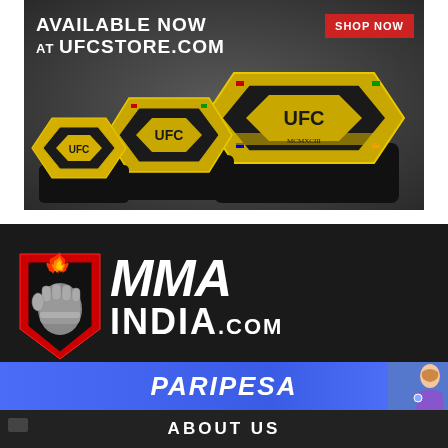[Figure (photo): UFC championship belts advertisement banner. Text reads 'AVAILABLE NOW AT UFCSTORE.COM' with a red 'SHOP NOW' button. Three UFC championship belts of different sizes displayed on a dark textured background.]
[Figure (logo): MMA India logo section on dark background. Shows a fist with flame logo on the left and large bold italic text 'MMA INDIA.com' on the right in white.]
[Figure (photo): PARIPESA sports betting advertisement banner in blue with white italic text 'PARIPESA' and a woman image on the right side.]
ABOUT US